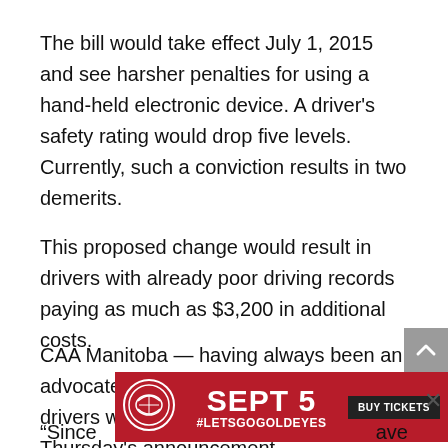The bill would take effect July 1, 2015 and see harsher penalties for using a hand-held electronic device. A driver’s safety rating would drop five levels. Currently, such a conviction results in two demerits.
This proposed change would result in drivers with already poor driving records paying as much as $3,200 in additional costs.
CAA Manitoba — having always been an advocate for tougher penalties against drivers who break the law — applauded Thursday’s announcement.
[Figure (infographic): Red advertisement banner for Winnipeg Goldeyes baseball. Shows a Goldeyes logo (circular bird design), text 'SEPT 5', '#LETSGO GOLDEYES', and a dark 'BUY TICKETS' button.]
“Since… ave